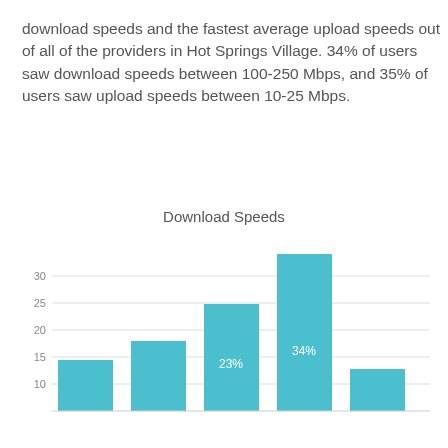download speeds and the fastest average upload speeds out of all of the providers in Hot Springs Village. 34% of users saw download speeds between 100-250 Mbps, and 35% of users saw upload speeds between 10-25 Mbps.
[Figure (bar-chart): Download Speeds]